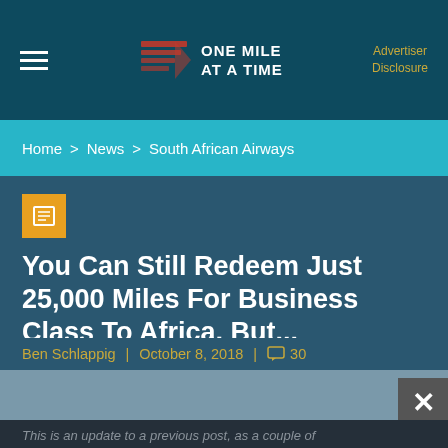ONE MILE AT A TIME
Advertiser Disclosure
Home > News > South African Airways
You Can Still Redeem Just 25,000 Miles For Business Class To Africa, But...
Ben Schlappig | October 8, 2018 | 30
This is an update to a previous post, as a couple of